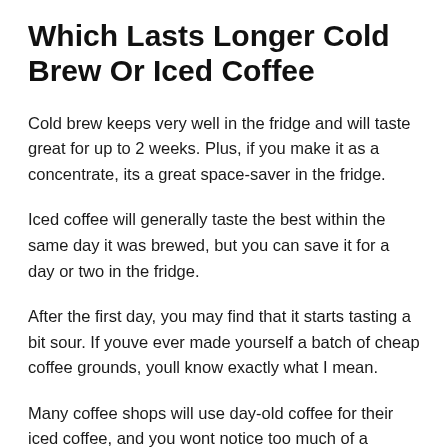Which Lasts Longer Cold Brew Or Iced Coffee
Cold brew keeps very well in the fridge and will taste great for up to 2 weeks. Plus, if you make it as a concentrate, its a great space-saver in the fridge.
Iced coffee will generally taste the best within the same day it was brewed, but you can save it for a day or two in the fridge.
After the first day, you may find that it starts tasting a bit sour. If youve ever made yourself a batch of cheap coffee grounds, youll know exactly what I mean.
Many coffee shops will use day-old coffee for their iced coffee, and you wont notice too much of a difference in that